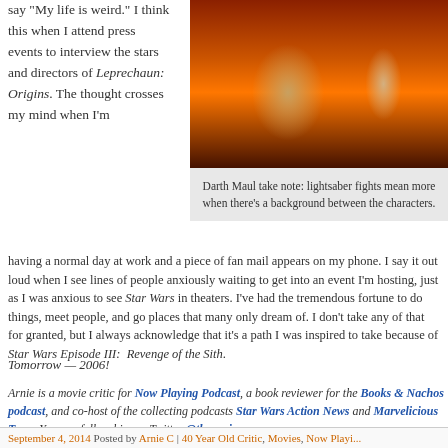say "My life is weird." I think this when I attend press events to interview the stars and directors of Leprechaun: Origins. The thought crosses my mind when I'm
[Figure (photo): Still from Star Wars Episode III: Revenge of the Sith showing Anakin Skywalker and Obi-Wan Kenobi in front of a fiery orange/red background]
Darth Maul take note: lightsaber fights mean more when there's a background between the characters.
having a normal day at work and a piece of fan mail appears on my phone. I say it out loud when I see lines of people anxiously waiting to get into an event I'm hosting, just as I was anxious to see Star Wars in theaters. I've had the tremendous fortune to do things, meet people, and go places that many only dream of. I don't take any of that for granted, but I always acknowledge that it's a path I was inspired to take because of Star Wars Episode III: Revenge of the Sith.
Tomorrow — 2006!
Arnie is a movie critic for Now Playing Podcast, a book reviewer for the Books & Nachos podcast, and co-host of the collecting podcasts Star Wars Action News and Marvelicious Toys. You can follow him on Twitter @thearniec
September 4, 2014 Posted by Arnie C | 40 Year Old Critic, Movies, Now Playing...